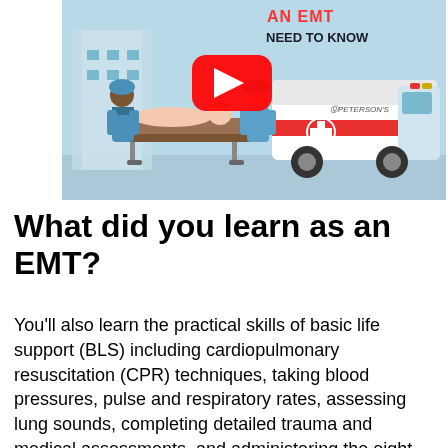[Figure (illustration): YouTube-style video thumbnail showing cartoon EMT workers pushing a patient on a stretcher next to an ambulance. Text overlay reads 'AN EMT NEED TO KNOW' with a YouTube play button icon and Peterson's logo.]
What did you learn as an EMT?
You'll also learn the practical skills of basic life support (BLS) including cardiopulmonary resuscitation (CPR) techniques, taking blood pressures, pulse and respiratory rates, assessing lung sounds, completing detailed trauma and medical assessments, and administering the eight medications that fall under the EMT.